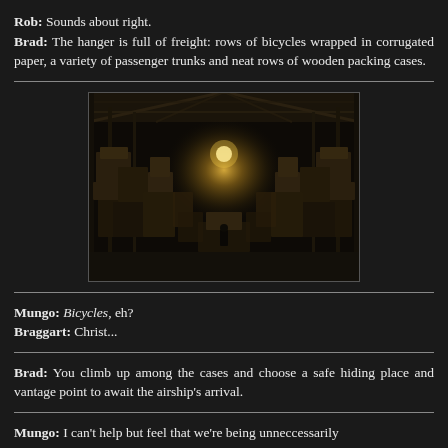Rob: Sounds about right.
Brad: The hanger is full of freight: rows of bicycles wrapped in corrugated paper, a variety of passenger trunks and neat rows of wooden packing cases.
[Figure (photo): Dark warehouse interior with rows of crates and freight, illuminated by warm light in the center aisle, high industrial ceiling with steel beams.]
Mungo: Bicycles, eh?
Braggart: Christ...
Brad: You climb up among the cases and choose a safe hiding place and vantage point to await the airship's arrival.
Mungo: I can't help but feel that we're being unneccessarily